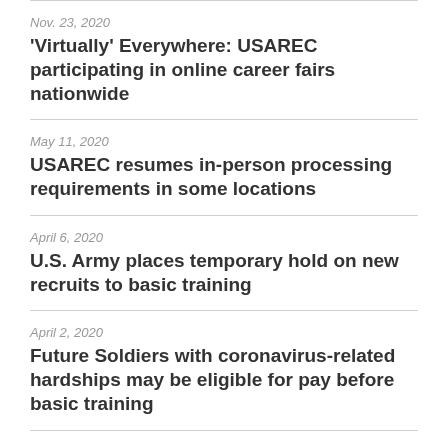Nov. 23, 2020
'Virtually' Everywhere: USAREC participating in online career fairs nationwide
May 11, 2020
USAREC resumes in-person processing requirements in some locations
April 6, 2020
U.S. Army places temporary hold on new recruits to basic training
April 2, 2020
Future Soldiers with coronavirus-related hardships may be eligible for pay before basic training
April 1, 2020
U.S. Army recruiters accepting virtual applications
March 30, 2020